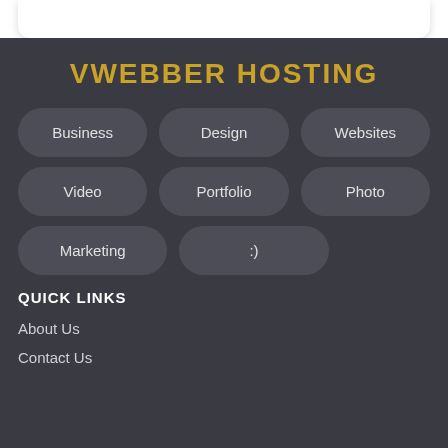VWEBBER HOSTING
Business
Design
Websites
Video
Portfolio
Photo
Marketing
:)
QUICK LINKS
About Us
Contact Us